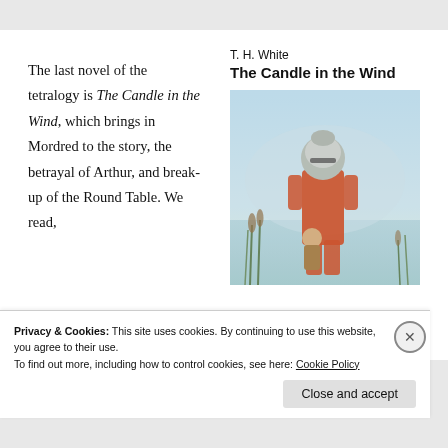The last novel of the tetralogy is The Candle in the Wind, which brings in Mordred to the story, the betrayal of Arthur, and break-up of the Round Table. We read,
[Figure (illustration): Book cover of 'The Candle in the Wind' by T. H. White showing a figure in armor/helmet with a child in a misty landscape with reeds and water]
Privacy & Cookies: This site uses cookies. By continuing to use this website, you agree to their use.
To find out more, including how to control cookies, see here: Cookie Policy
Close and accept